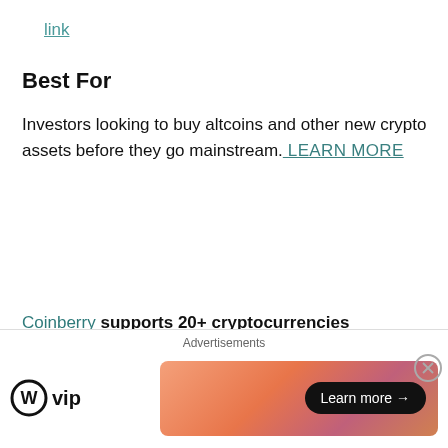link
Best For
Investors looking to buy altcoins and other new crypto assets before they go mainstream. LEARN MORE
3. Coinberry
Coinberry supports 20+ cryptocurrencies (including XRP) and charges zero fees on CAD deposits and withdrawals. Users can instantly deposit money via credit card and INTERAC e-transfers, and while
[Figure (other): Advertisement banner: WordPress VIP logo on the left and a gradient orange-pink banner with 'Learn more →' button on the right. A close (X) button appears to the right.]